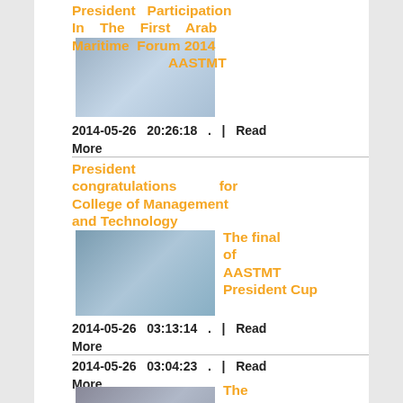President Participation In The First Arab Maritime Forum 2014 AASTMT
[Figure (photo): Thumbnail image for AASTMT Maritime Forum article]
2014-05-26  20:26:18  .  |  Read More
President congratulations for College of Management and Technology
[Figure (photo): Thumbnail image for AASTMT Management and Technology article]
The final of AASTMT President Cup
2014-05-26  03:13:14  .  |  Read More
2014-05-26  03:04:23  .  |  Read More
[Figure (photo): Thumbnail image for Consul of France article]
The Consul of France in Alexandria Visiting AASTMT